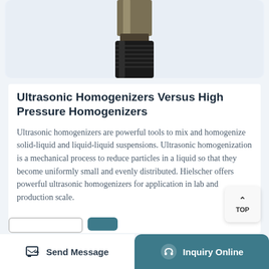[Figure (photo): Close-up photo of an ultrasonic homogenizer probe tip — a metallic cylindrical device with a dark black threaded coupling, partially visible against a light blue-grey background.]
Ultrasonic Homogenizers Versus High Pressure Homogenizers
Ultrasonic homogenizers are powerful tools to mix and homogenize solid-liquid and liquid-liquid suspensions. Ultrasonic homogenization is a mechanical process to reduce particles in a liquid so that they become uniformly small and evenly distributed. Hielscher offers powerful ultrasonic homogenizers for application in lab and production scale.
Send Message   Inquiry Online